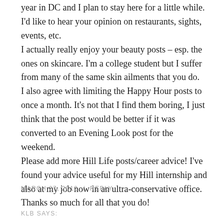year in DC and I plan to stay here for a little while. I'd like to hear your opinion on restaurants, sights, events, etc.
I actually really enjoy your beauty posts – esp. the ones on skincare. I'm a college student but I suffer from many of the same skin ailments that you do.
I also agree with limiting the Happy Hour posts to once a month. It's not that I find them boring, I just think that the post would be better if it was converted to an Evening Look post for the weekend.
Please add more Hill Life posts/career advice! I've found your advice useful for my Hill internship and also at my job now in an ultra-conservative office.
Thanks so much for all that you do!
MARCH 27, 2012  /  REPLY
KLB SAYS: